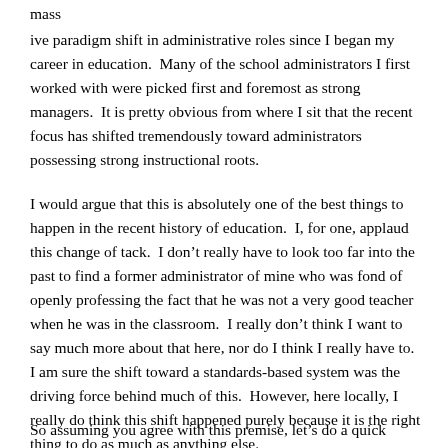mass
ive paradigm shift in administrative roles since I began my career in education.  Many of the school administrators I first worked with were picked first and foremost as strong managers.  It is pretty obvious from where I sit that the recent focus has shifted tremendously toward administrators possessing strong instructional roots.
I would argue that this is absolutely one of the best things to happen in the recent history of education.  I, for one, applaud this change of tack.  I don’t really have to look too far into the past to find a former administrator of mine who was fond of openly professing the fact that he was not a very good teacher when he was in the classroom.  I really don’t think I want to say much more about that here, nor do I think I really have to.  I am sure the shift toward a standards-based system was the driving force behind much of this.  However, here locally, I really do think this shift happened purely because it is the right thing to do as much as anything else.
So assuming you agree with this premise, let’s do a quick review of